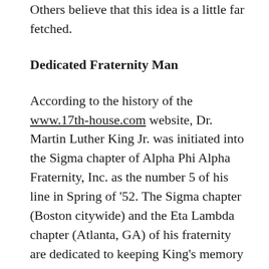Others believe that this idea is a little far fetched.
Dedicated Fraternity Man
According to the history of the www.17th-house.com website, Dr. Martin Luther King Jr. was initiated into the Sigma chapter of Alpha Phi Alpha Fraternity, Inc. as the number 5 of his line in Spring of '52. The Sigma chapter (Boston citywide) and the Eta Lambda chapter (Atlanta, GA) of his fraternity are dedicated to keeping King's memory alive with memorials, presentations, and events. Eta Lambda says on their website that in 1956, Dr.